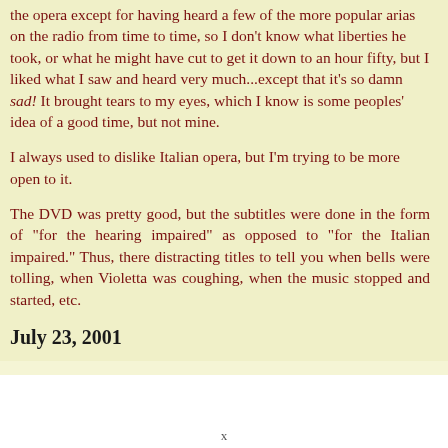the opera except for having heard a few of the more popular arias on the radio from time to time, so I don't know what liberties he took, or what he might have cut to get it down to an hour fifty, but I liked what I saw and heard very much...except that it's so damn sad! It brought tears to my eyes, which I know is some peoples' idea of a good time, but not mine.
I always used to dislike Italian opera, but I'm trying to be more open to it.
The DVD was pretty good, but the subtitles were done in the form of "for the hearing impaired" as opposed to "for the Italian impaired." Thus, there distracting titles to tell you when bells were tolling, when Violetta was coughing, when the music stopped and started, etc.
July 23, 2001
x